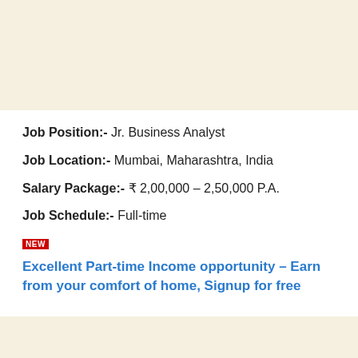Job Position:- Jr. Business Analyst
Job Location:- Mumbai, Maharashtra, India
Salary Package:- ₹ 2,00,000 – 2,50,000 P.A.
Job Schedule:- Full-time
NEW
Excellent Part-time Income opportunity – Earn from your comfort of home, Signup for free